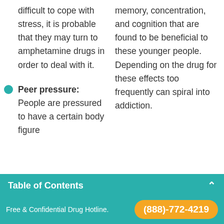difficult to cope with stress, it is probable that they may turn to amphetamine drugs in order to deal with it.
memory, concentration, and cognition that are found to be beneficial to these younger people. Depending on the drug for these effects too frequently can spiral into addiction.
Peer pressure: People are pressured to have a certain body figure
Table of Contents
Abuse of amphetamines is possible in anyone but
Free & Confidential Drug Hotline. (888)-772-4219